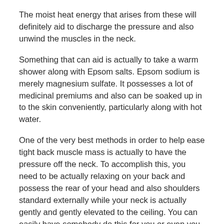The moist heat energy that arises from these will definitely aid to discharge the pressure and also unwind the muscles in the neck.
Something that can aid is actually to take a warm shower along with Epsom salts. Epsom sodium is merely magnesium sulfate. It possesses a lot of medicinal premiums and also can be soaked up in to the skin conveniently, particularly along with hot water.
One of the very best methods in order to help ease tight back muscle mass is actually to have the pressure off the neck. To accomplish this, you need to be actually relaxing on your back and possess the rear of your head and also shoulders standard externally while your neck is actually gently and gently elevated to the ceiling. You can easily have somebody do this for you or even you can have a belt or even a connection and also area it underneath your neck, having either end of it in your palms and also gently drawing all of them, raising your back up. Usually you are actually heading